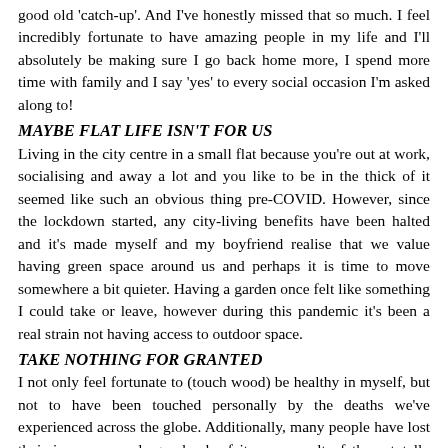good old 'catch-up'. And I've honestly missed that so much. I feel incredibly fortunate to have amazing people in my life and I'll absolutely be making sure I go back home more, I spend more time with family and I say 'yes' to every social occasion I'm asked along to!
MAYBE FLAT LIFE ISN'T FOR US
Living in the city centre in a small flat because you're out at work, socialising and away a lot and you like to be in the thick of it seemed like such an obvious thing pre-COVID. However, since the lockdown started, any city-living benefits have been halted and it's made myself and my boyfriend realise that we value having green space around us and perhaps it is time to move somewhere a bit quieter. Having a garden once felt like something I could take or leave, however during this pandemic it's been a real strain not having access to outdoor space.
TAKE NOTHING FOR GRANTED
I not only feel fortunate to (touch wood) be healthy in myself, but not to have been touched personally by the deaths we've experienced across the globe. Additionally, many people have lost their income or a large chunk of it, as a result of these totally unforeseen circumstances. And, a lot of people have spent lockdown in overcrowded houses. Luckily, I've been able to carry